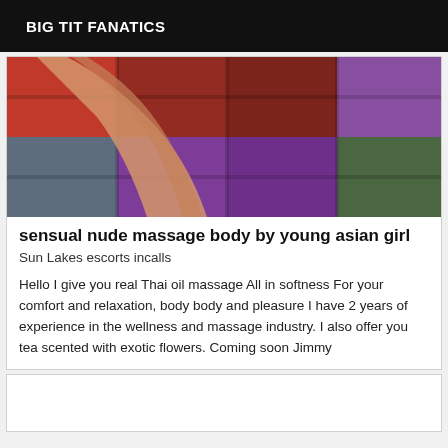BIG TIT FANATICS
[Figure (photo): Close-up photo of a hand on a colorful patchwork fabric/quilt with red, pink, purple, and green tones]
sensual nude massage body by young asian girl
Sun Lakes escorts incalls
Hello I give you real Thai oil massage All in softness For your comfort and relaxation, body body and pleasure I have 2 years of experience in the wellness and massage industry. I also offer you tea scented with exotic flowers. Coming soon Jimmy